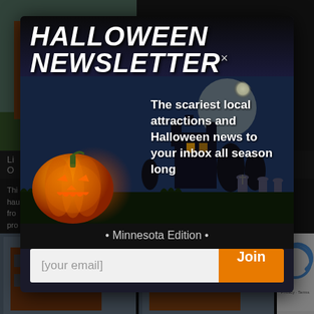[Figure (photo): Brick building exterior photo, top-left]
Minneapolis, MN
(612) 623-9176
Visit Website
Li
O
Thi  uite
hau  edly
fro  d to
pro  site
is s  who
ma
HALLOWEEN NEWSLETTER×
[Figure (photo): Halloween themed image: glowing jack-o-lantern pumpkin on left, haunted house and moonlit graveyard with crosses in background, dark blue night sky]
The scariest local attractions and Halloween news to your inbox all season long
• Minnesota Edition •
[your email]
Join
[Figure (photo): Bottom thumbnail 1: brick building exterior]
[Figure (photo): Bottom thumbnail 2: brick building exterior]
[Figure (logo): reCAPTCHA logo, Privacy · Terms text]